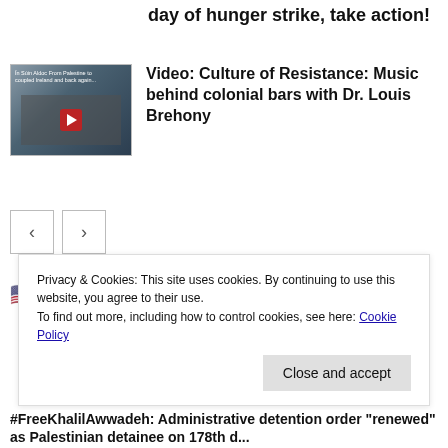day of hunger strike, take action!
[Figure (screenshot): Thumbnail image for video about Culture of Resistance with text overlay]
Video: Culture of Resistance: Music behind colonial bars with Dr. Louis Brehony
[Figure (other): Navigation previous and next arrow buttons]
🇺🇸  English
Privacy & Cookies: This site uses cookies. By continuing to use this website, you agree to their use.
To find out more, including how to control cookies, see here: Cookie Policy
Close and accept
#FreeKhalilAwwadeh: Administrative detention order "renewed" as Palestinian detainee on 178th d...